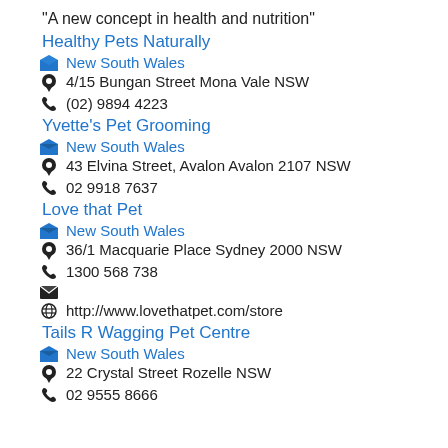“A new concept in health and nutrition”
Healthy Pets Naturally
New South Wales
4/15 Bungan Street Mona Vale NSW
(02) 9894 4223
Yvette’s Pet Grooming
New South Wales
43 Elvina Street, Avalon Avalon 2107 NSW
02 9918 7637
Love that Pet
New South Wales
36/1 Macquarie Place Sydney 2000 NSW
1300 568 738
http://www.lovethatpet.com/store
Tails R Wagging Pet Centre
New South Wales
22 Crystal Street Rozelle NSW
02 9555 8666